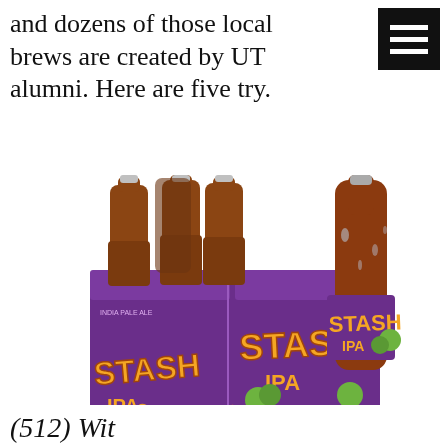and dozens of those local brews are created by UT alumni. Here are five try.
[Figure (photo): A four-pack of Stash IPA beer in purple packaging with orange flame graphics and hop illustrations, alongside a single brown glass bottle of Stash IPA with matching label.]
(512) Wit